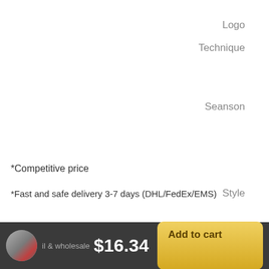Logo Technique
Seanson
Style
*Competitive price
*Fast and safe delivery 3-7 days (DHL/FedEx/EMS)
il & wholesale  $16.34  Add to cart